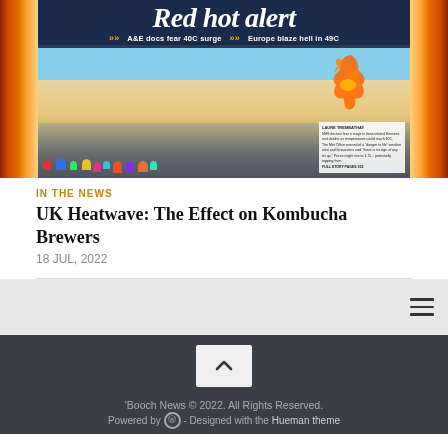[Figure (photo): Newspaper front page with headline 'Red hot alert' showing A&E docs fear 40C surge and Europe blaze hell in 49C, with beach crowd photo and UK heat map, surrounded by flame imagery on left and right sides]
IN THE NEWS
UK Heatwave: The Effect on Kombucha Brewers
18 JUL, 2022
[Figure (other): Hamburger menu icon (three horizontal lines)]
[Figure (other): Back to top chevron button]
'Booch News © 2022. All Rights Reserved. Powered by WordPress - Designed with the Hueman theme